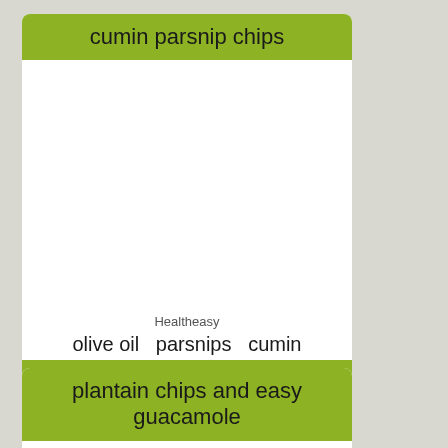cumin parsnip chips
[Figure (photo): White blank image area for recipe photo]
Healtheasy
olive oil  parsnips  cumin
whole30  comfort food  21dsd  quick
plantain chips and easy guacamole
[Figure (photo): White blank image area for second recipe photo]